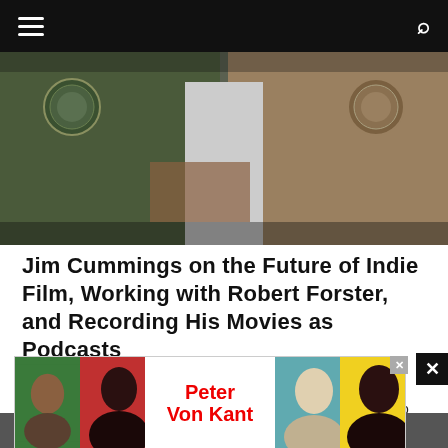Navigation bar with hamburger menu and search icon
[Figure (photo): Two people in military/sheriff uniform jackets with patches, standing facing each other, with a person in white visible between them. Dark cinematic tone.]
Jim Cummings on the Future of Indie Film, Working with Robert Forster, and Recording His Movies as Podcasts
Jim Cummings is perhaps as recognized for talking about making movies as he is at making them. If you pay attention to American indie films, Cummings has carve...
[Figure (photo): Advertisement banner for 'Peter Von Kant' showing four colored portrait photos of people on green, red, blue, and yellow backgrounds, with the film title in red text in the center. Has an X close button.]